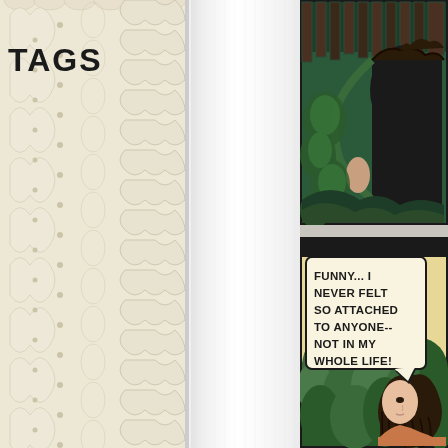TAGS
[Figure (illustration): Left panel showing cream/white lace trim alongside white fabric/ribbon, creating a layered textile collage effect]
[Figure (illustration): Top right comic panel showing a dark shadowy figure lurking in green foliage, viewed from behind a fence or bars]
[Figure (illustration): Bottom right comic panel showing a woman with dark hair and a speech bubble reading: FUNNY... I NEVER FELT SO ATTACHED TO ANYONE-- NOT IN MY WHOLE LIFE!]